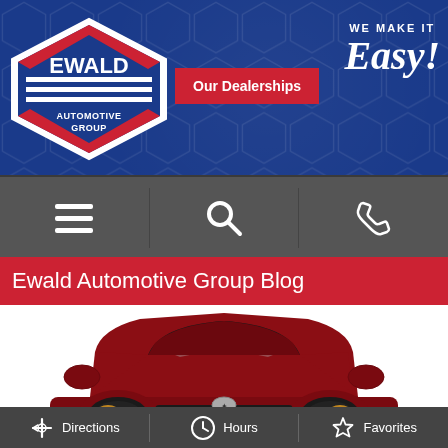[Figure (logo): Ewald Automotive Group logo — diamond/shield shape with red, white, and blue stripes and text]
[Figure (screenshot): Website header with blue background hexagon pattern, Ewald Automotive Group logo on left, 'Our Dealerships' red button in center, 'WE MAKE IT Easy!' tagline on right]
[Figure (screenshot): Dark gray navigation bar with hamburger menu icon, search icon, and phone icon]
Ewald Automotive Group Blog
[Figure (photo): Front view of a dark red/maroon Chrysler 300 sedan on white background]
[Figure (screenshot): Dark gray footer bar with three items: Directions (with navigation icon), Hours (with clock icon), Favorites (with star icon)]